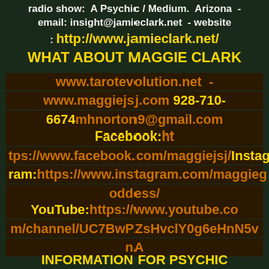radio show:  A Psychic / Medium.  Arizona  -  email: insight@jamieclark.net  - website : http://www.jamieclark.net/ WHAT ABOUT MAGGIE CLARK
www.tarotevolution.net  - www.maggiejsj.com 928-710-6674mhnorton9@gmail.com Facebook:https://www.facebook.com/maggiejsj/Instagram:https://www.instagram.com/maggiegoddess/ YouTube:https://www.youtube.com/channel/UC7BwPZsHvclY0g6eHnN5vnA
INFORMATION FOR PSYCHIC